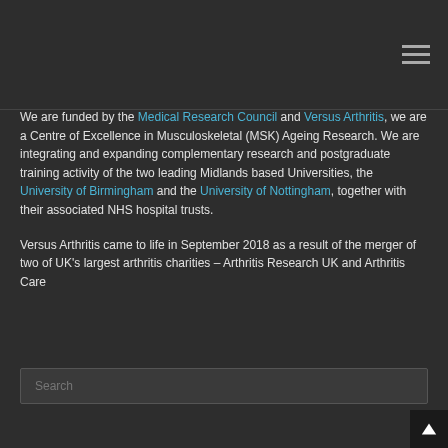Navigation menu icon (hamburger)
We are funded by the Medical Research Council and Versus Arthritis, we are a Centre of Excellence in Musculoskeletal (MSK) Ageing Research. We are integrating and expanding complementary research and postgraduate training activity of the two leading Midlands based Universities, the University of Birmingham and the University of Nottingham, together with their associated NHS hospital trusts.
Versus Arthritis came to life in September 2018 as a result of the merger of two of UK's largest arthritis charities – Arthritis Research UK and Arthritis Care
Search